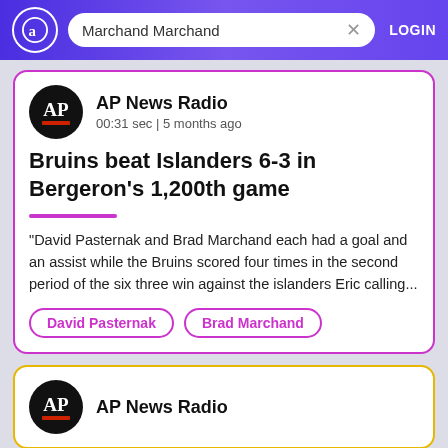Marchand Marchand — LOGIN
AP News Radio
00:31 sec | 5 months ago
Bruins beat Islanders 6-3 in Bergeron's 1,200th game
"David Pasternak and Brad Marchand each had a goal and an assist while the Bruins scored four times in the second period of the six three win against the islanders Eric calling...
David Pasternak
Brad Marchand
AP News Radio